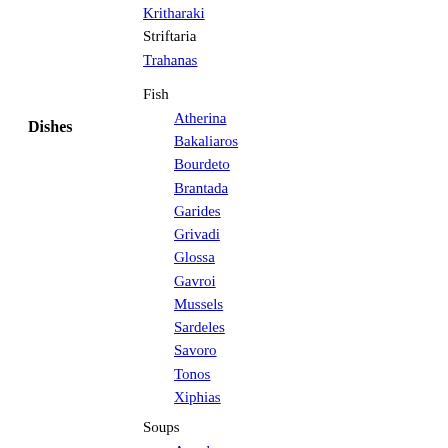Kritharaki
Striftaria
Trahanas
Fish
Dishes
Atherina
Bakaliaros
Bourdeto
Brantada
Garides
Grivadi
Glossa
Gavroi
Mussels
Sardeles
Savoro
Tonos
Xiphias
Soups
Avgolemono
Bourou-bourou
Fasolada
Hortosoupa
Lentil soup